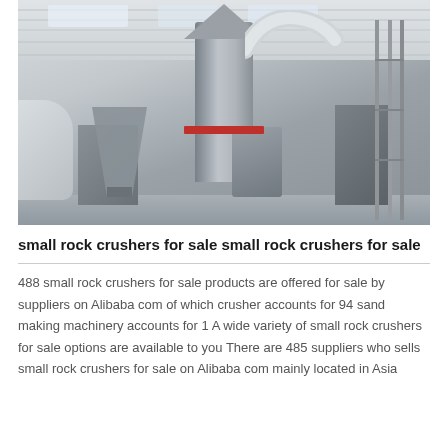[Figure (photo): Industrial warehouse interior showing large metal grinding/milling machinery with a tall central cyclone separator, ducting, hoppers, and various mechanical components on a concrete floor under a corrugated metal roof.]
small rock crushers for sale small rock crushers for sale
488 small rock crushers for sale products are offered for sale by suppliers on Alibaba com of which crusher accounts for 94 sand making machinery accounts for 1 A wide variety of small rock crushers for sale options are available to you There are 485 suppliers who sells small rock crushers for sale on Alibaba com mainly located in Asia